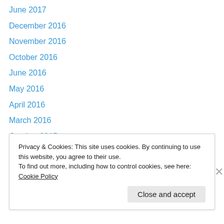June 2017
December 2016
November 2016
October 2016
June 2016
May 2016
April 2016
March 2016
October 2015
August 2015
July 2015
May 2015
March 2015
Privacy & Cookies: This site uses cookies. By continuing to use this website, you agree to their use. To find out more, including how to control cookies, see here: Cookie Policy
Close and accept